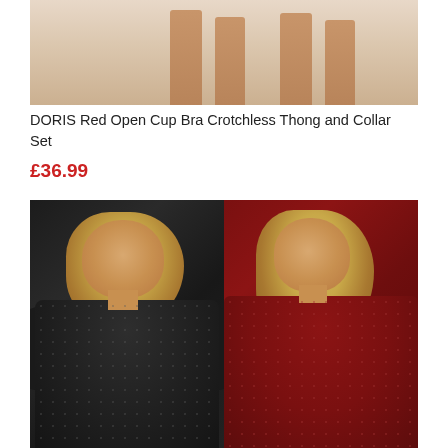[Figure (photo): Top portion of a product photo showing legs of a model in lingerie against a light background]
DORIS Red Open Cup Bra Crotchless Thong and Collar Set
£36.99
[Figure (photo): Two models wearing lace bodysuits — one in black (front view) and one in dark red/burgundy (back view), both with long blonde hair]